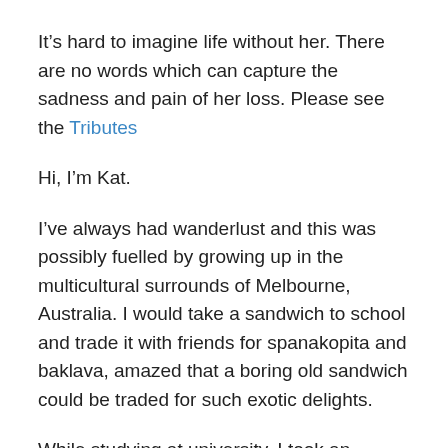It’s hard to imagine life without her. There are no words which can capture the sadness and pain of her loss. Please see the Tributes
Hi, I’m Kat.
I’ve always had wanderlust and this was possibly fuelled by growing up in the multicultural surrounds of Melbourne, Australia. I would take a sandwich to school and trade it with friends for spanakopita and baklava, amazed that a boring old sandwich could be traded for such exotic delights.
While studying at university, I took an internship in Tokyo and climbed Mt. Fuji for the first time. ‘A wise man climbs Mt. Fuji, a fool climbs it twice’ is a popular Japanese saying… so I climbed it 7 times. From Tokyo to Toronto to